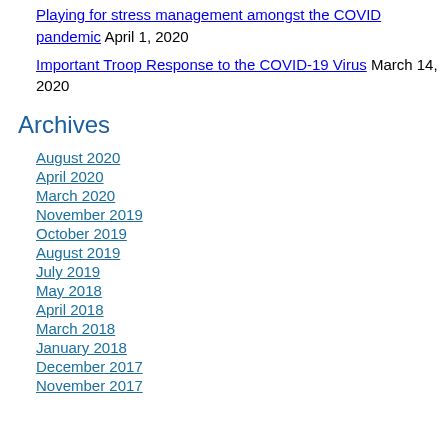Playing for stress management amongst the COVID pandemic April 1, 2020
Important Troop Response to the COVID-19 Virus March 14, 2020
Archives
August 2020
April 2020
March 2020
November 2019
October 2019
August 2019
July 2019
May 2018
April 2018
March 2018
January 2018
December 2017
November 2017